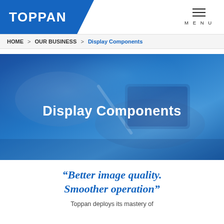TOPPAN
HOME > OUR BUSINESS > Display Components
[Figure (photo): Hero banner showing hands holding a tablet/smartphone device with a blue overlay tint, with white centered text reading 'Display Components']
“Better image quality. Smoother operation”
Toppan deploys its mastery of